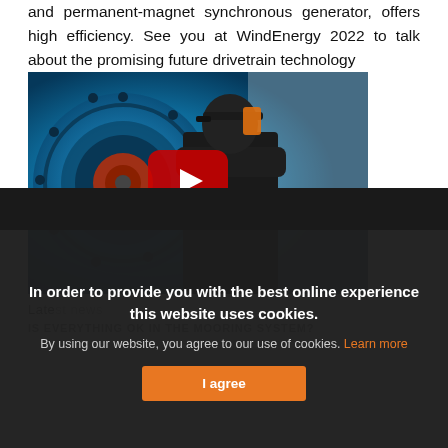and permanent-magnet synchronous generator, offers high efficiency. See you at WindEnergy 2022 to talk about the promising future drivetrain technology
[Figure (photo): A person wearing a Winergy branded shirt viewed from behind, standing in front of a large blue industrial wind turbine generator component. A YouTube play button overlay is visible in the center of the image.]
Latest news
IS EVERYTHING OK IN THE MOORING SYSTEM?
In order to provide you with the best online experience this website uses cookies.
By using our website, you agree to our use of cookies. Learn more
I agree